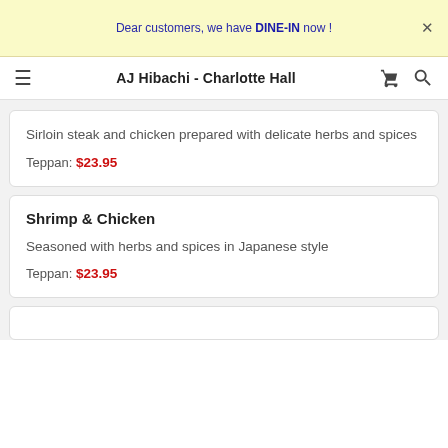Dear customers, we have DINE-IN now !
AJ Hibachi - Charlotte Hall
Sirloin steak and chicken prepared with delicate herbs and spices
Teppan: $23.95
Shrimp & Chicken
Seasoned with herbs and spices in Japanese style
Teppan: $23.95